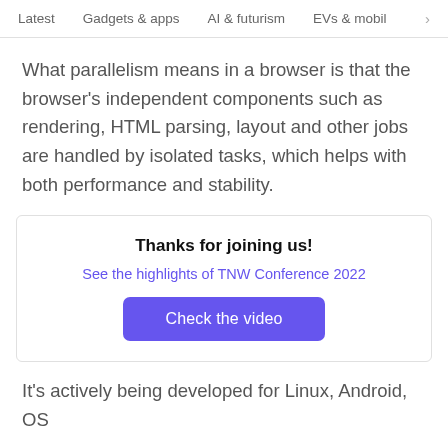Latest   Gadgets & apps   AI & futurism   EVs & mobil  >
What parallelism means in a browser is that the browser's independent components such as rendering, HTML parsing, layout and other jobs are handled by isolated tasks, which helps with both performance and stability.
[Figure (infographic): Promotional box with title 'Thanks for joining us!', a link 'See the highlights of TNW Conference 2022', and a purple button 'Check the video']
It's actively being developed for Linux, Android, OS